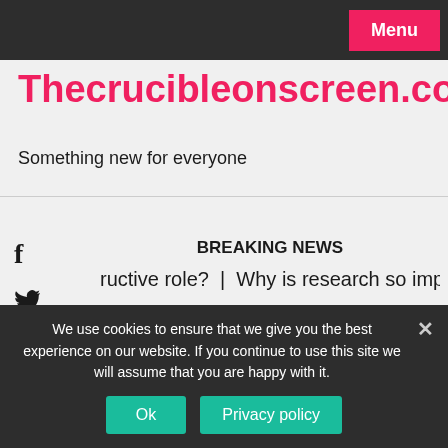Menu
Thecrucibleonscreen.com
Something new for everyone
BREAKING NEWS
ructive role?  |  Why is research so important?  |  Did Achille
26/08/2022
We use cookies to ensure that we give you the best experience on our website. If you continue to use this site we will assume that you are happy with it.
Ok
Privacy policy